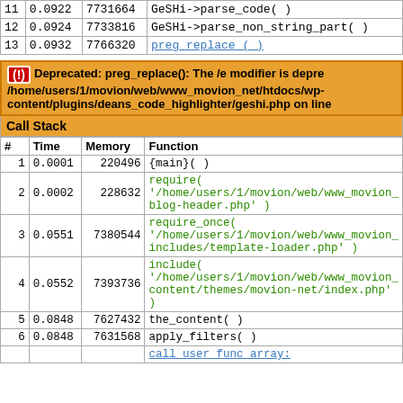| # | Time | Memory | Function |
| --- | --- | --- | --- |
| 11 | 0.0922 | 7731664 | GeSHi->parse_code() |
| 12 | 0.0924 | 7733816 | GeSHi->parse_non_string_part() |
| 13 | 0.0932 | 7766320 | preg_replace () |
Deprecated: preg_replace(): The /e modifier is deprecated, use preg_replace_callback instead in /home/users/1/movion/web/www_movion_net/htdocs/wp-content/plugins/deans_code_highlighter/geshi.php on line
| # | Time | Memory | Function |
| --- | --- | --- | --- |
| 1 | 0.0001 | 220496 | {main}( ) |
| 2 | 0.0002 | 228632 | require( '/home/users/1/movion/web/www_movion_ blog-header.php' ) |
| 3 | 0.0551 | 7380544 | require_once( '/home/users/1/movion/web/www_movion_ includes/template-loader.php' ) |
| 4 | 0.0552 | 7393736 | include( '/home/users/1/movion/web/www_movion_ content/themes/movion-net/index.php' ) |
| 5 | 0.0848 | 7627432 | the_content( ) |
| 6 | 0.0848 | 7631568 | apply_filters( ) |
| 7 |  |  | call_user_func_array: |